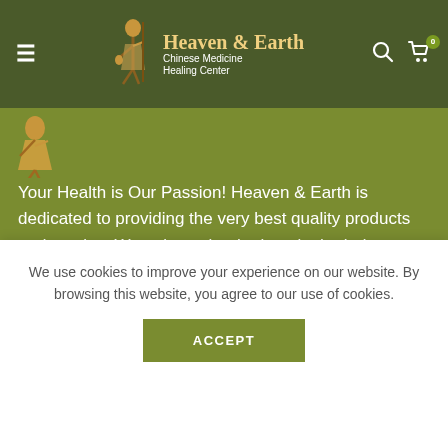Heaven & Earth Chinese Medicine Healing Center
[Figure (illustration): Small partial figure of a Chinese medicine deity/character visible at top-left of content area]
Your Health is Our Passion! Heaven & Earth is dedicated to providing the very best quality products and service. We strive to be the best in the industry, to innovate and illuminate.
CONTACT US
We use cookies to improve your experience on our website. By browsing this website, you agree to our use of cookies.